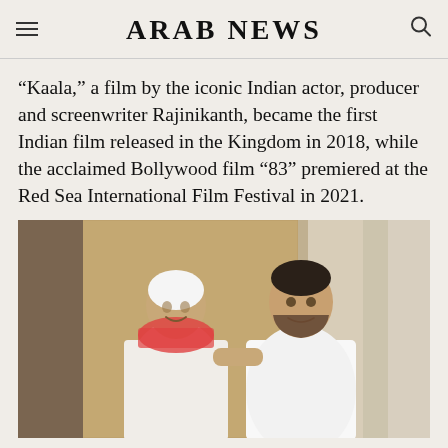ARAB NEWS
“Kaala,” a film by the iconic Indian actor, producer and screenwriter Rajinikanth, became the first Indian film released in the Kingdom in 2018, while the acclaimed Bollywood film “83” premiered at the Red Sea International Film Festival in 2021.
[Figure (photo): Two men posing together for a photo. On the left is a man wearing traditional Saudi white thobe and a red-and-white shemagh draped around his neck, smiling. On the right is a man wearing a white t-shirt with short hair and a beard, smiling.]